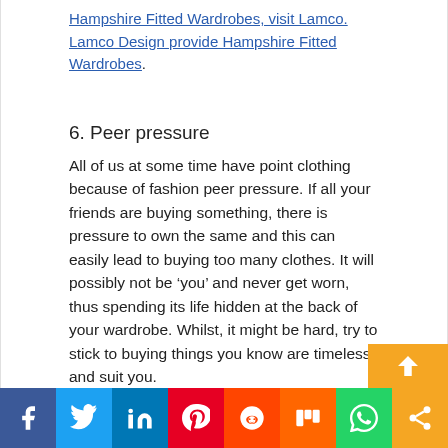Hampshire Fitted Wardrobes, visit Lamco. Lamco Design provide Hampshire Fitted Wardrobes.
6. Peer pressure
All of us at some time have point clothing because of fashion peer pressure. If all your friends are buying something, there is pressure to own the same and this can easily lead to buying too many clothes. It will possibly not be ‘you’ and never get worn, thus spending its life hidden at the back of your wardrobe. Whilst, it might be hard, try to stick to buying things you know are timeless and suit you.
[Figure (other): Social share bar with icons for Facebook, Twitter, LinkedIn, Pinterest, Reddit, Mix, WhatsApp, and share button. Orange scroll-to-top button above bar.]